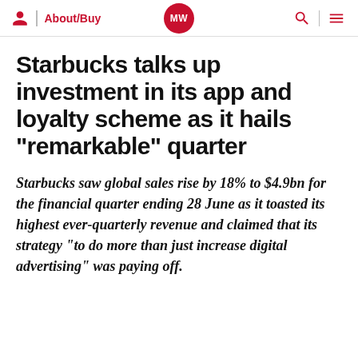About/Buy | MW | Search | Menu
Starbucks talks up investment in its app and loyalty scheme as it hails “remarkable” quarter
Starbucks saw global sales rise by 18% to $4.9bn for the financial quarter ending 28 June as it toasted its highest ever-quarterly revenue and claimed that its strategy “to do more than just increase digital advertising” was paying off.